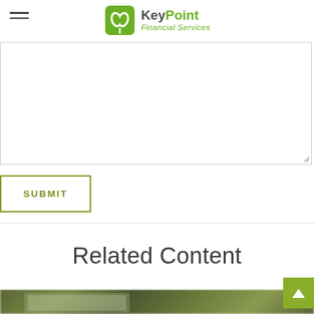KeyPoint Financial Services
[Figure (screenshot): Empty textarea form field with resize handle in bottom-right corner]
SUBMIT
Related Content
[Figure (photo): Blurred photo showing a tablet/e-reader device on a surface with green background]